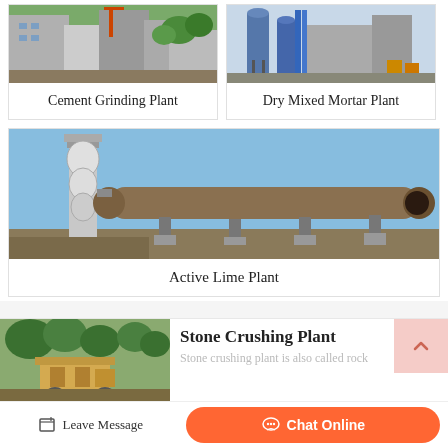[Figure (photo): Industrial cement grinding plant facility with large buildings and equipment]
Cement Grinding Plant
[Figure (photo): Dry mixed mortar plant with industrial silos and equipment]
Dry Mixed Mortar Plant
[Figure (photo): Active lime plant with large rotary kiln and tall industrial tower]
Active Lime Plant
[Figure (photo): Stone crushing plant with machinery and trees in background]
Stone Crushing Plant
Stone crushing plant is also called rock
Leave Message
Chat Online